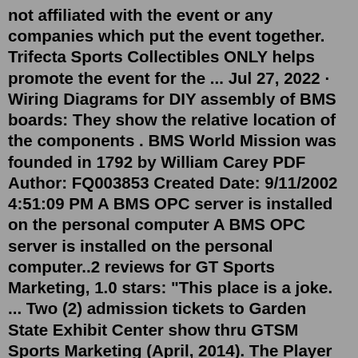not affiliated with the event or any companies which put the event together. Trifecta Sports Collectibles ONLY helps promote the event for the ... Jul 27, 2022 · Wiring Diagrams for DIY assembly of BMS boards: They show the relative location of the components . BMS World Mission was founded in 1792 by William Carey PDF Author: FQ003853 Created Date: 9/11/2002 4:51:09 PM A BMS OPC server is installed on the personal computer A BMS OPC server is installed on the personal computer..2 reviews for GT Sports Marketing, 1.0 stars: "This place is a joke. ... Two (2) admission tickets to Garden State Exhibit Center show thru GTSM Sports Marketing (April, 2014). The Player signing cancelled prior to the show event. Therefore, I contacted GT Sports Marketing on April 14th (show scheduled for April 25-27,2014) requesting a ...JP's Sports and Rock Solid Promotions is home of the East Coast National. We have the largest shows and in person signing of athletes from every major sport in the Tri-State area.2022 10 sep